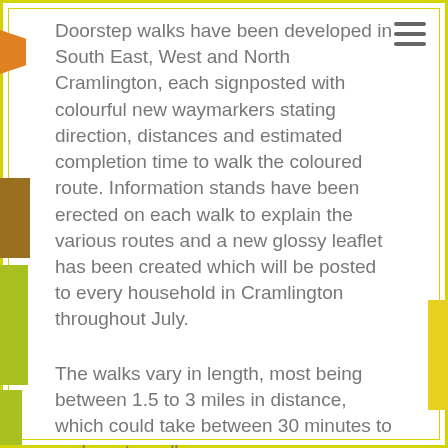Doorstep walks have been developed in South East, West and North Cramlington, each signposted with colourful new waymarkers stating direction, distances and estimated completion time to walk the coloured route. Information stands have been erected on each walk to explain the various routes and a new glossy leaflet has been created which will be posted to every household in Cramlington throughout July.
The walks vary in length, most being between 1.5 to 3 miles in distance, which could take between 30 minutes to an hour to walk.